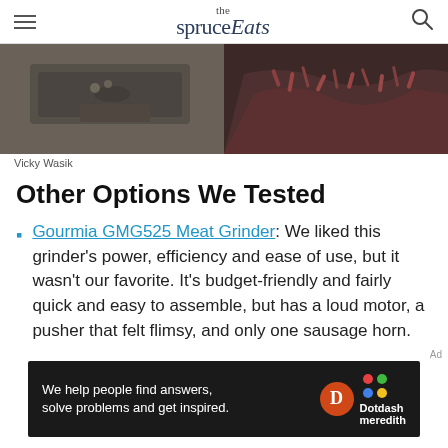the spruce Eats
[Figure (photo): Two-panel food image: left panel shows a metal tray with a food grinder and green onions, right panel shows ground red meat coming out of a grinder attachment onto a dark surface.]
Vicky Wasik
Other Options We Tested
Gourmia GMG525 Meat Grinder: We liked this grinder's power, efficiency and ease of use, but it wasn't our favorite. It's budget-friendly and fairly quick and easy to assemble, but has a loud motor, a pusher that felt flimsy, and only one sausage horn.
[Figure (other): Dotdash Meredith advertisement banner with text: We help people find answers, solve problems and get inspired. Features Dotdash Meredith logo with orange D circle and colorful dots icon.]